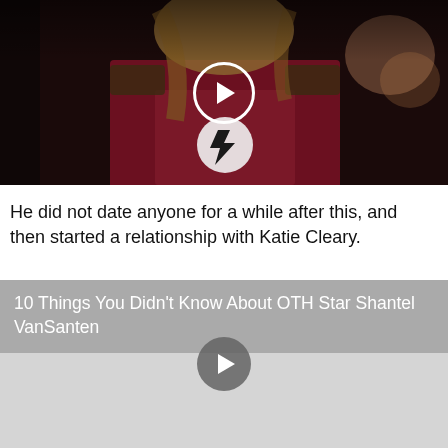[Figure (photo): Person wearing a dark red superhero costume with a lightning bolt emblem on the chest, standing in a dimly lit background. A white-bordered circular play button is overlaid in the center of the image.]
He did not date anyone for a while after this, and then started a relationship with Katie Cleary.
[Figure (screenshot): Video thumbnail card with gray background showing title '10 Things You Didn't Know About OTH Star Shantel VanSanten' overlaid with a semi-transparent gray banner, and a gray circular play button in the center of the thumbnail area.]